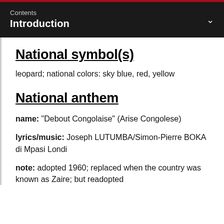Contents
Introduction
National symbol(s)
leopard; national colors: sky blue, red, yellow
National anthem
name: "Debout Congolaise" (Arise Congolese)
lyrics/music: Joseph LUTUMBA/Simon-Pierre BOKA di Mpasi Londi
note: adopted 1960; replaced when the country was known as Zaire; but readopted